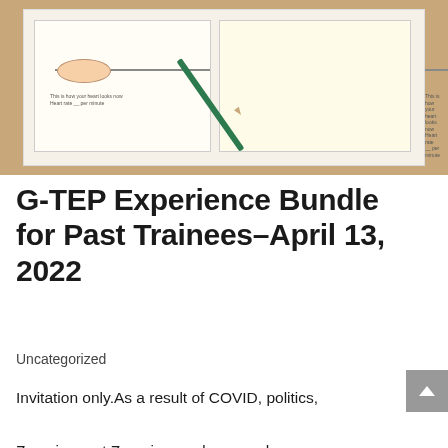[Figure (photo): Photo of an open notebook or workbook on a wooden table, showing two pages with arrows and oval callout shapes, with a green pencil resting across the pages diagonally.]
G-TEP Experience Bundle for Past Trainees–April 13, 2022
Uncategorized
Invitation only.As a result of COVID, politics, Zooming, not Zooming, and our much-needed awakening to racial struggles, Greater Orlando EMDR TRN